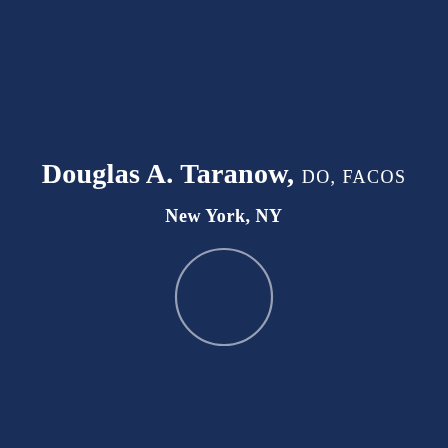Douglas A. Taranow, DO, FACOS
New York, NY
[Figure (logo): A thin white circle outline serving as a logo or decorative graphic element centered below the location text]